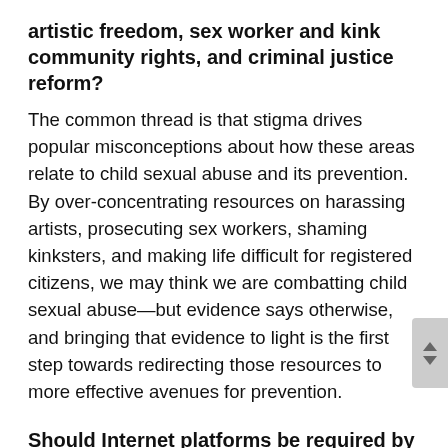artistic freedom, sex worker and kink community rights, and criminal justice reform?
The common thread is that stigma drives popular misconceptions about how these areas relate to child sexual abuse and its prevention. By over-concentrating resources on harassing artists, prosecuting sex workers, shaming kinksters, and making life difficult for registered citizens, we may think we are combatting child sexual abuse—but evidence says otherwise, and bringing that evidence to light is the first step towards redirecting those resources to more effective avenues for prevention.
Should Internet platforms be required by law to carry additional responsibility for CSA prevention?
We support the current liability model that makes